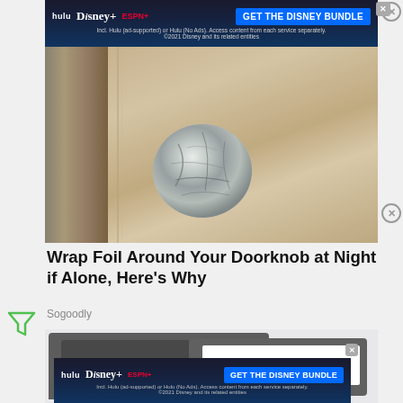[Figure (screenshot): Top advertisement banner for Hulu Disney+ ESPN+ 'GET THE DISNEY BUNDLE' with dark blue gradient background, logos and button, close button in top right]
[Figure (photo): Photo of a doorknob wrapped in aluminum foil, door is beige/tan colored wood]
Wrap Foil Around Your Doorknob at Night if Alone, Here's Why
Sogoodly
[Figure (screenshot): Partial view of a second article thumbnail showing a dark gray tablet/device]
[Figure (screenshot): Bottom advertisement banner for Hulu Disney+ ESPN+ 'GET THE DISNEY BUNDLE' with dark blue gradient background]